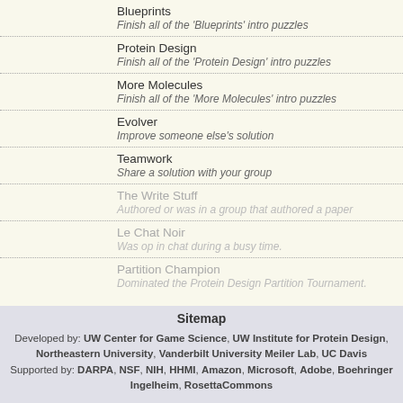Blueprints
Finish all of the 'Blueprints' intro puzzles
Protein Design
Finish all of the 'Protein Design' intro puzzles
More Molecules
Finish all of the 'More Molecules' intro puzzles
Evolver
Improve someone else's solution
Teamwork
Share a solution with your group
The Write Stuff
Authored or was in a group that authored a paper
Le Chat Noir
Was op in chat during a busy time.
Partition Champion
Dominated the Protein Design Partition Tournament.
Sitemap
Developed by: UW Center for Game Science, UW Institute for Protein Design, Northeastern University, Vanderbilt University Meiler Lab, UC Davis
Supported by: DARPA, NSF, NIH, HHMI, Amazon, Microsoft, Adobe, Boehringer Ingelheim, RosettaCommons